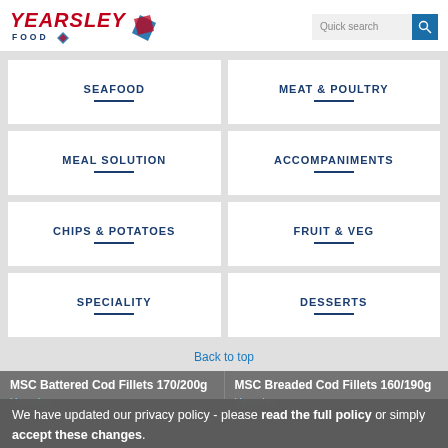[Figure (logo): Yearsley Food logo with red italic text and diamond icon]
SEAFOOD
MEAT & POULTRY
MEAL SOLUTION
ACCOMPANIMENTS
CHIPS & POTATOES
FRUIT & VEG
SPECIALITY
DESSERTS
Back to top
MSC Battered Cod Fillets 170/200g
Yearsley
18 x 1
MSC Breaded Cod Fillets 160/190g
Yearsley
24 x 1
We have updated our privacy policy - please read the full policy or simply accept these changes.